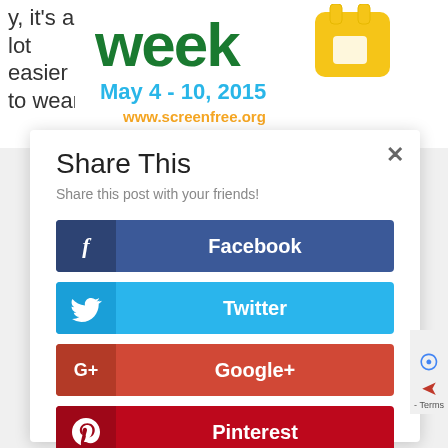y, it's a lot easier to wean
[Figure (infographic): Screen Free Week banner with 'week' in green bold text, 'May 4 - 10, 2015' in blue, 'www.screenfree.org' in orange/yellow, and a yellow shopping bag icon]
Share This
Share this post with your friends!
f  Facebook
Twitter
G+  Google+
Pinterest